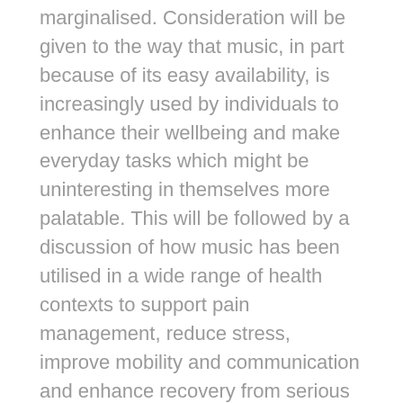marginalised. Consideration will be given to the way that music, in part because of its easy availability, is increasingly used by individuals to enhance their wellbeing and make everyday tasks which might be uninteresting in themselves more palatable. This will be followed by a discussion of how music has been utilised in a wide range of health contexts to support pain management, reduce stress, improve mobility and communication and enhance recovery from serious physical and mental health problems. The specific examples referred to will be drawn from across the age range, literally from birth to death. The paper will conclude with examples of the way that music can have an impact on the behaviour of non-human species and encourage plants to flourish.